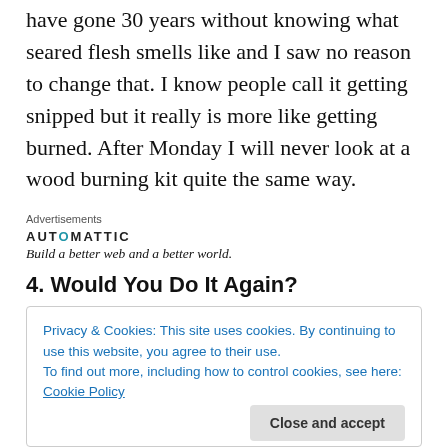have gone 30 years without knowing what seared flesh smells like and I saw no reason to change that. I know people call it getting snipped but it really is more like getting burned. After Monday I will never look at a wood burning kit quite the same way.
Advertisements
AUTOMATTIC
Build a better web and a better world.
4. Would You Do It Again?
Privacy & Cookies: This site uses cookies. By continuing to use this website, you agree to their use.
To find out more, including how to control cookies, see here: Cookie Policy
Close and accept
thin from time upon t the what it some the old bearing